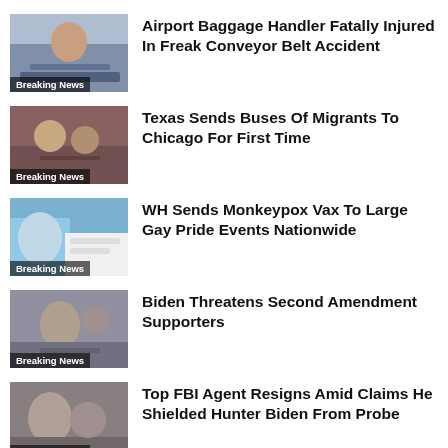[Figure (photo): Thumbnail image with Breaking News badge]
Airport Baggage Handler Fatally Injured In Freak Conveyor Belt Accident
[Figure (photo): Thumbnail image with Breaking News badge]
Texas Sends Buses Of Migrants To Chicago For First Time
[Figure (photo): Thumbnail image with Breaking News badge]
WH Sends Monkeypox Vax To Large Gay Pride Events Nationwide
[Figure (photo): Thumbnail image with Breaking News badge]
Biden Threatens Second Amendment Supporters
[Figure (photo): Thumbnail image with Breaking News badge]
Top FBI Agent Resigns Amid Claims He Shielded Hunter Biden From Probe